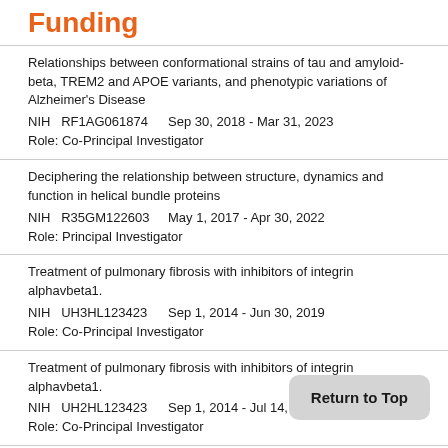Funding
Relationships between conformational strains of tau and amyloid-beta, TREM2 and APOE variants, and phenotypic variations of Alzheimer's Disease
NIH   RF1AG061874   Sep 30, 2018 - Mar 31, 2023
Role: Co-Principal Investigator
Deciphering the relationship between structure, dynamics and function in helical bundle proteins
NIH   R35GM122603   May 1, 2017 - Apr 30, 2022
Role: Principal Investigator
Treatment of pulmonary fibrosis with inhibitors of integrin alphavbeta1.
NIH   UH3HL123423   Sep 1, 2014 - Jun 30, 2019
Role: Co-Principal Investigator
Treatment of pulmonary fibrosis with inhibitors of integrin alphavbeta1.
NIH   UH2HL123423   Sep 1, 2014 - Jul 14, 2016
Role: Co-Principal Investigator
Vaccines that Replicate the Neutralization Structure of the gp41 MPER
NIH   R01AI097051   Mar 1, 2012 - Feb 28, 2018
Role: Co-Principal Investigator